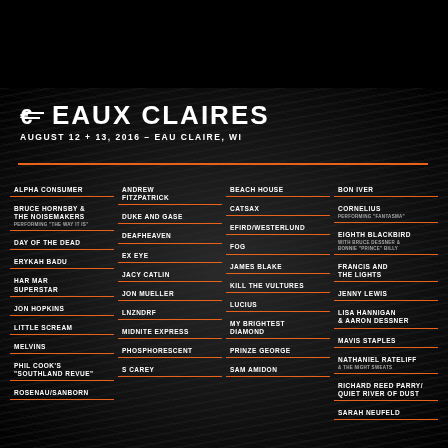[Figure (infographic): Eaux Claires music festival poster for August 12 + 13, 2016 in Eau Claire, WI. Dark water/wave textured background with festival logo, date, and lineup of performers listed in four columns.]
EAUX CLAIRES
AUGUST 12 + 13, 2016 - EAU CLAIRE, WI
ALPHA CONSUMER
ANDREW FITZPATRICK
BEACH HOUSE
BON IVER
BRUCE HORNSBY & THE NOISEMAKERS PERFORMING "THE WAY IT IS"
DUKE AND GASE
CATSAX
CORNELIUS PERFORMING "FANTASMA"
DAY OF THE DEAD
DEAFHEAVEN
EFIRD/WESTERLUND
EIGHTH BLACKBIRD WITH BRUCE DESSNER & BONNIE "PRINCE" BILLY
ERYKAH BADU
EX EYE
FOG
FRANCIS AND THE LIGHTS
HAR MAR SUPERSTAR
JACY CATLIN
JAMES BLAKE
JENNY LEWIS
JON HOPKINS
JON MUELLER
KILL THE VULTURES
LISA HANNIGAN & AARON DESSNER
LITTLE SCREAM
LNZNDRF
LUCIUS
MAVIS STAPLES
MELVINS
MIDNITE EXPRESS
MY BRIGHTEST DIAMOND
NATHANIEL RATELIFF & THE NIGHT SWEATS
PHIL COOK'S "SOUTHLAND REVUE"
PHOSPHORESCENT
PRINZE GEORGE
RICHARD REED PARRY/ QUIET RIVER OF DUST
ROSENAU/SANBORN
S CAREY
SAM AMIDON
SARAH NEUFELD